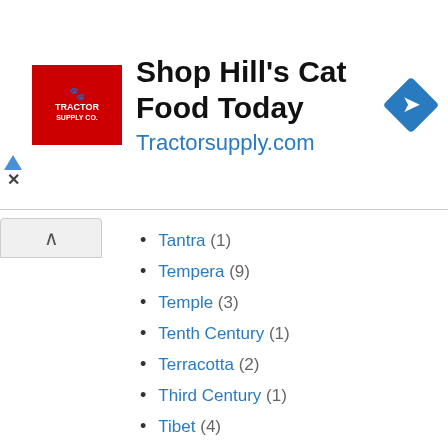[Figure (infographic): Advertisement banner for Tractor Supply Co. showing Hill's Cat Food promotion with logo, headline 'Shop Hill's Cat Food Today', URL 'Tractorsupply.com', and a blue diamond direction icon]
Tantra (1)
Tempera (9)
Temple (3)
Tenth Century (1)
Terracotta (2)
Third Century (1)
Tibet (4)
Ustad Allah Bukhsh (1)
Vishnu (13)
War (1)
Warwick Goble (33)